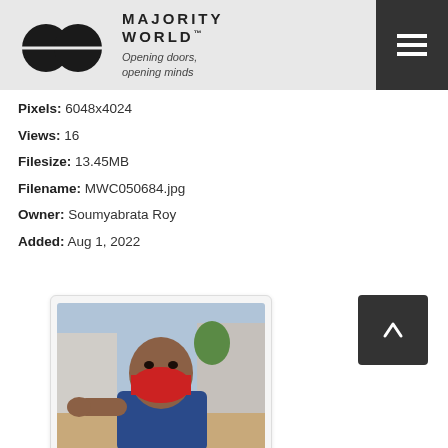Majority World™ — Opening doors, opening minds
Pixels: 6048x4024
Views: 16
Filesize: 13.45MB
Filename: MWC050684.jpg
Owner: Soumyabrata Roy
Added: Aug 1, 2022
[Figure (photo): A child wearing a red face mask, holding up their hand toward the camera. Street/urban background with buildings and people visible.]